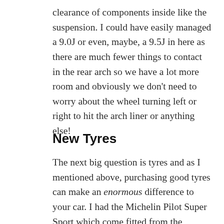clearance of components inside like the suspension. I could have easily managed a 9.0J or even, maybe, a 9.5J in here as there are much fewer things to contact in the rear arch so we have a lot more room and obviously we don't need to worry about the wheel turning left or right to hit the arch liner or anything else!
New Tyres
The next big question is tyres and as I mentioned above, purchasing good tyres can make an enormous difference to your car. I had the Michelin Pilot Super Sport which come fitted from the factory and they're a really good tyre...